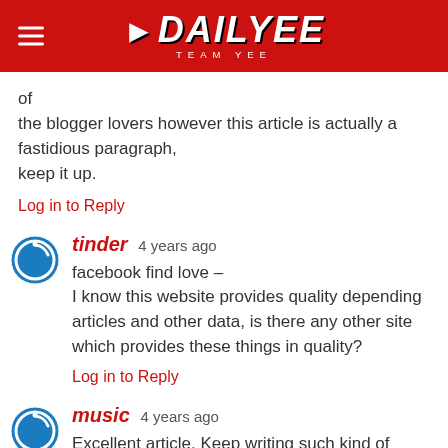DAILYEE TEAM YEE
of the blogger lovers however this article is actually a fastidious paragraph, keep it up.
Log in to Reply
tinder 4 years ago
facebook find love – I know this website provides quality depending articles and other data, is there any other site which provides these things in quality?
Log in to Reply
music 4 years ago
Excellent article. Keep writing such kind of